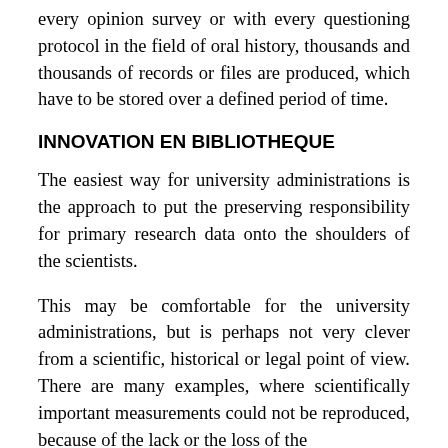every opinion survey or with every questioning protocol in the field of oral history, thousands and thousands of records or files are produced, which have to be stored over a defined period of time.
INNOVATION EN BIBLIOTHEQUE
The easiest way for university administrations is the approach to put the preserving responsibility for primary research data onto the shoulders of the scientists.
This may be comfortable for the university administrations, but is perhaps not very clever from a scientific, historical or legal point of view. There are many examples, where scientifically important measurements could not be reproduced, because of the lack or the loss of the